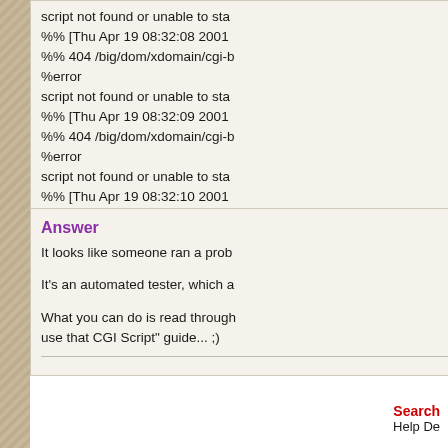script not found or unable to sta
%% [Thu Apr 19 08:32:08 2001
%% 404 /big/dom/xdomain/cgi-b
%error
script not found or unable to sta
%% [Thu Apr 19 08:32:09 2001
%% 404 /big/dom/xdomain/cgi-b
%error
script not found or unable to sta
%% [Thu Apr 19 08:32:10 2001
%% 404 /big/dom/xdomain/cgi-b
%error
script not found or unable to sta
Answer
It looks like someone ran a prob
It's an automated tester, which a
What you can do is read through use that CGI Script" guide... ;)
Search
Help De